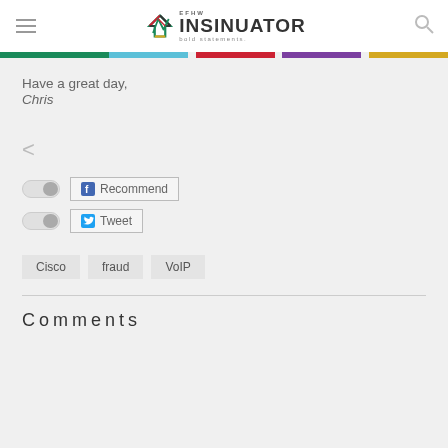EFHW INSINUATOR bold statements
Have a great day,
Chris
< (back navigation)
Recommend (Facebook button)
Tweet (Twitter button)
Cisco
fraud
VoIP
Comments